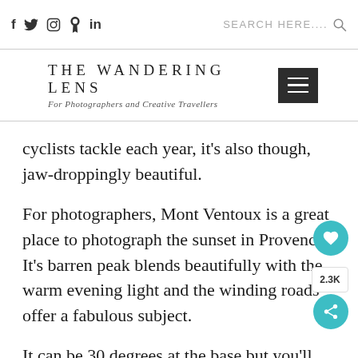f  Twitter  Instagram  Pinterest  in | SEARCH HERE....
[Figure (logo): The Wandering Lens logo — 'THE WANDERING LENS' in spaced uppercase serif, subtitle 'For Photographers and Creative Travellers' in italic script. Hamburger menu icon on the right.]
cyclists tackle each year, it's also though, jaw-droppingly beautiful.
For photographers, Mont Ventoux is a great place to photograph the sunset in Provence. It's barren peak blends beautifully with the warm evening light and the winding roads offer a fabulous subject.
It can be 30 degrees at the base but you'll need a jacket on top and in winter there can